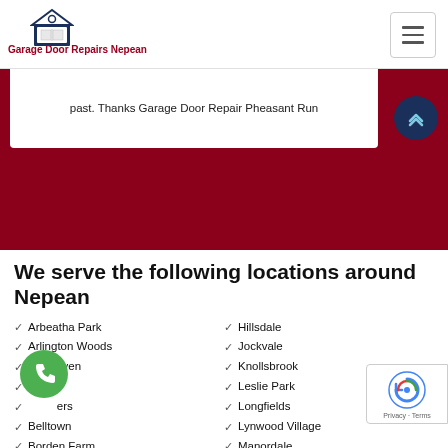Garage Door Repairs Nepean
past. Thanks Garage Door Repair Pheasant Run
We serve the following locations around Nepean
Arbeatha Park
Arlington Woods
Barrhaven
Belltown
Borden Farm
Hillsdale
Jockvale
Knollsbrook
Leslie Park
Longfields
Lynwood Village
Manordale